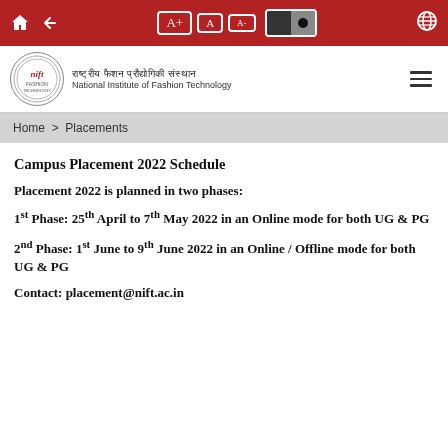NIFT website top navigation bar with home, back, font size, color, and language controls
[Figure (logo): NIFT (National Institute of Fashion Technology) circular logo with Hindi text राष्ट्रीय फैशन प्रौद्योगिकी संस्थान and English text National Institute of Fashion Technology]
Home > Placements
Campus Placement 2022 Schedule
Placement 2022 is planned in two phases:
1st Phase: 25th April to 7th May 2022 in an Online mode for both UG & PG
2nd Phase: 1st June to 9th June 2022 in an Online / Offline mode for both UG & PG
Contact: placement@nift.ac.in